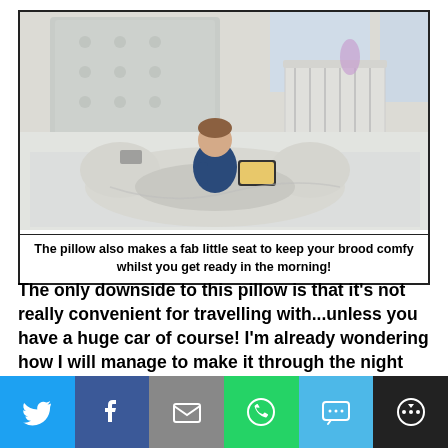[Figure (photo): A toddler in a dark blue outfit sitting on a large U-shaped pregnancy/nursing pillow on a white bed, looking at a tablet. Background shows a white upholstered headboard, baby cot/playpen with toys, and bright windows.]
The pillow also makes a fab little seat to keep your brood comfy whilst you get ready in the morning!
The only downside to this pillow is that it's not really convenient for travelling with...unless you have a huge car of course! I'm already wondering how I will manage to make it through the night feeds and hours of reflux
[Figure (infographic): Social sharing bar with six buttons: Twitter (blue bird icon), Facebook (blue f icon), Email (grey envelope icon), WhatsApp (green phone icon), SMS (light blue SMS bubble icon), More (dark circle with share icon).]